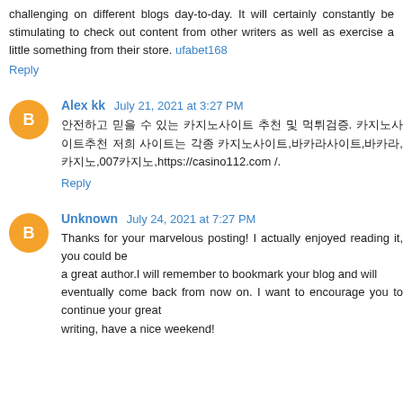challenging on different blogs day-to-day. It will certainly constantly be stimulating to check out content from other writers as well as exercise a little something from their store. ufabet168
Reply
Alex kk  July 21, 2021 at 3:27 PM
안전하고 믿을 수 있는 카지노사이트 추천 및 먹튀검증. 카지노사이트추천 저희 사이트는 각종 카지노사이트,바카라사이트,바카라,카지노,007카지노,https://casino112.com /.
Reply
Unknown  July 24, 2021 at 7:27 PM
Thanks for your marvelous posting! I actually enjoyed reading it, you could be a great author.I will remember to bookmark your blog and will eventually come back from now on. I want to encourage you to continue your great writing, have a nice weekend!